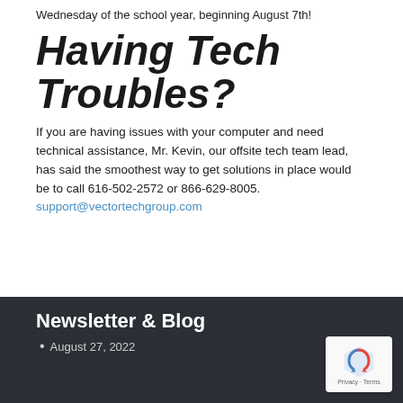Wednesday of the school year, beginning August 7th!
Having Tech Troubles?
If you are having issues with your computer and need technical assistance, Mr. Kevin, our offsite tech team lead, has said the smoothest way to get solutions in place would be to call 616-502-2572 or 866-629-8005. support@vectortechgroup.com
Newsletter & Blog
August 27, 2022